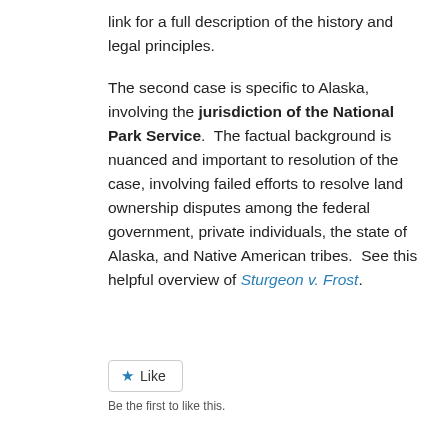link for a full description of the history and legal principles.

The second case is specific to Alaska, involving the jurisdiction of the National Park Service. The factual background is nuanced and important to resolution of the case, involving failed efforts to resolve land ownership disputes among the federal government, private individuals, the state of Alaska, and Native American tribes. See this helpful overview of Sturgeon v. Frost.
[Figure (other): Like button widget with a blue star icon and the label Like, followed by text: Be the first to like this.]